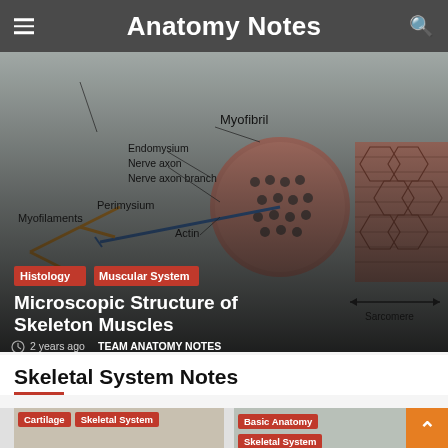Anatomy Notes
[Figure (illustration): Anatomical diagram of skeletal muscle microscopic structure showing Perimysium, Endomysium, Nerve axon, Nerve axon branch, Transverse tubule, Sarcoplasmic reticulum, Myofibril, Myofilaments, Actin, Sarcomere labels with cross-section illustration of muscle fibers]
Histology   Muscular System
Microscopic Structure of Skeleton Muscles
2 years ago   TEAM ANATOMY NOTES
Skeletal System Notes
Cartilage   Skeletal System
Basic Anatomy   Skeletal System